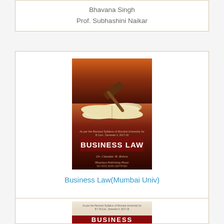Bhavana Singh
Prof. Subhashini Naikar
[Figure (photo): Book cover of Business Law by Dr. Chandar H. Rohra, published by Himalaya Publishing House. Cover shows a judge's gavel resting on an open book with a dark red/maroon background.]
Business Law(Mumbai Univ)
Dr. Chandar H. Rohra
[Figure (photo): Partial view of another book cover, also for Business Law, showing the top portion with text 'BUSINESS' visible at bottom.]